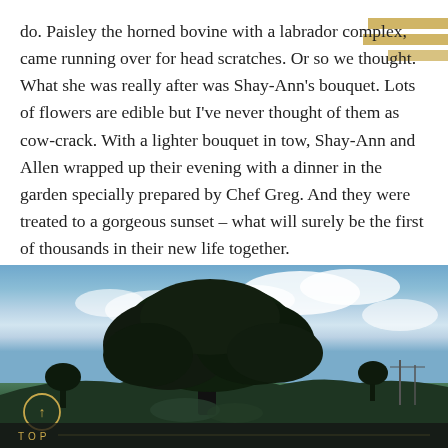do. Paisley the horned bovine with a labrador complex, came running over for head scratches. Or so we thought. What she was really after was Shay-Ann's bouquet. Lots of flowers are edible but I've never thought of them as cow-crack. With a lighter bouquet in tow, Shay-Ann and Allen wrapped up their evening with a dinner in the garden specially prepared by Chef Greg. And they were treated to a gorgeous sunset – what will surely be the first of thousands in their new life together.
[Figure (photo): Outdoor landscape photograph showing a large oak tree silhouette against a blue sky with clouds, rocky terrain visible in the background. A circular arrow icon (navigation/back-to-top button) is visible in the lower left. 'TOP' text label appears at the bottom.]